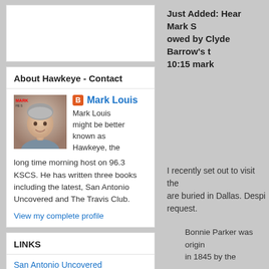[Figure (photo): Blank white placeholder card at top of left sidebar]
About Hawkeye - Contact
[Figure (photo): Profile photo of Mark Louis, a middle-aged man with gray hair, smiling]
Mark Louis might be better known as Hawkeye, the long time morning host on 96.3 KSCS. He has written three books including the latest, San Antonio Uncovered and The Travis Club.
View my complete profile
LINKS
San Antonio Uncovered
Just Added: Hear Mark S owed by Clyde Barrow's t 10:15 mark
I recently set out to visit the are buried in Dallas. Despi request.
Bonnie Parker was origin in 1845 by the